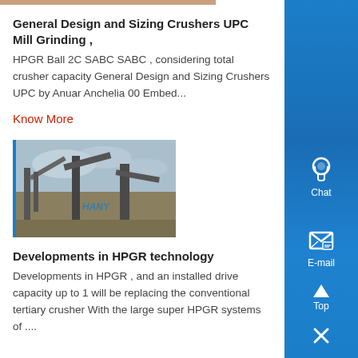[Figure (photo): Top portion of a photo showing industrial equipment, partially cropped at the top of the page]
General Design and Sizing Crushers UPC Mill Grinding ,
HPGR Ball 2C SABC SABC , considering total crusher capacity General Design and Sizing Crushers UPC by Anuar Anchelia 00 Embed...
Know More
[Figure (photo): Photo of industrial crusher/grinding equipment outdoors under cloudy sky with HANY watermark]
Developments in HPGR technology
Developments in HPGR , and an installed drive capacity up to 1 will be replacing the conventional tertiary crusher With the large super HPGR systems of ....
[Figure (infographic): Blue sidebar with Chat icon, E-mail icon, Top arrow button, and close X button]